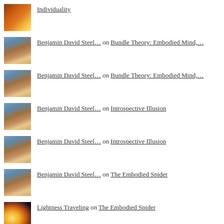Individuality
Benjamin David Steel... on Bundle Theory: Embodied Mind,...
Benjamin David Steel... on Bundle Theory: Embodied Mind,...
Benjamin David Steel... on Introspective Illusion
Benjamin David Steel... on Introspective Illusion
Benjamin David Steel... on The Embodied Spider
Lightness Traveling on The Embodied Spider
Lightness Traveling on Bundle Theory: Embodied Mind,...